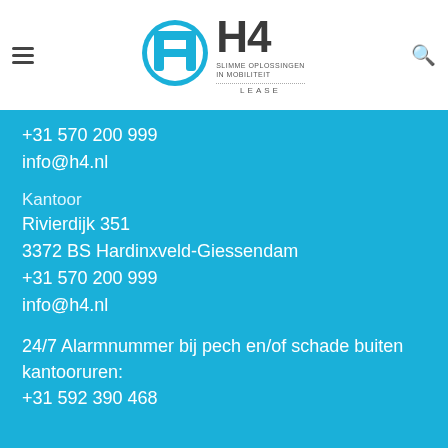[Figure (logo): H4 Lease company logo with stylized H wrench icon, H4 text, slogan SLIMME OPLOSSINGEN IN MOBILITEIT, and LEASE label]
+31 570 200 999
info@h4.nl
Kantoor
Rivierdijk 351
3372 BS Hardinxveld-Giessendam
+31 570 200 999
info@h4.nl
24/7 Alarmnummer bij pech en/of schade buiten kantooruren:
+31 592 390 468